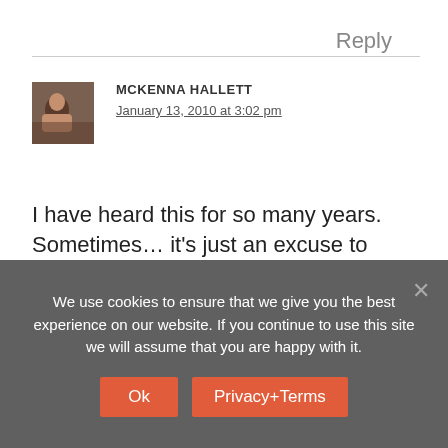Reply
[Figure (photo): Avatar photo of McKenna Hallett]
MCKENNA HALLETT
January 13, 2010 at 3:02 pm
I have heard this for so many years. Sometimes… it's just an excuse to politely say… I am not interested. But for some … THEY believe and have beliefs about not having room for more work. They NEED to understand that this concept is NOT valid…
We use cookies to ensure that we give you the best experience on our website. If you continue to use this site we will assume that you are happy with it.
Ok
Privacy+Terms